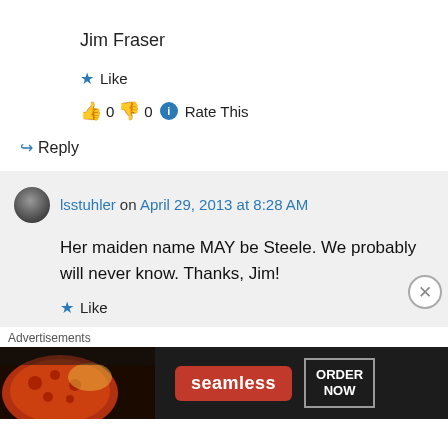Jim Fraser
★ Like
👍 0 👎 0 ℹ Rate This
↪ Reply
lsstuhler on April 29, 2013 at 8:28 AM
Her maiden name MAY be Steele. We probably will never know. Thanks, Jim!
★ Like
Advertisements
[Figure (screenshot): Seamless food delivery advertisement banner with pizza image, Seamless logo in red, and ORDER NOW button]